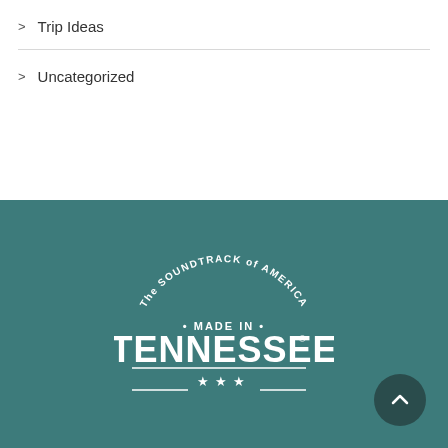Trip Ideas
Uncategorized
[Figure (logo): Tennessee Tourism logo: 'The Soundtrack of America · Made In · Tennessee® ★★★' in white on teal background]